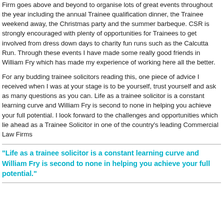Firm goes above and beyond to organise lots of great events throughout the year including the annual Trainee qualification dinner, the Trainee weekend away, the Christmas party and the summer barbeque. CSR is strongly encouraged with plenty of opportunities for Trainees to get involved from dress down days to charity fun runs such as the Calcutta Run. Through these events I have made some really good friends in William Fry which has made my experience of working here all the better.
For any budding trainee solicitors reading this, one piece of advice I received when I was at your stage is to be yourself, trust yourself and ask as many questions as you can. Life as a trainee solicitor is a constant learning curve and William Fry is second to none in helping you achieve your full potential. I look forward to the challenges and opportunities which lie ahead as a Trainee Solicitor in one of the country's leading Commercial Law Firms
"Life as a trainee solicitor is a constant learning curve and William Fry is second to none in helping you achieve your full potential."